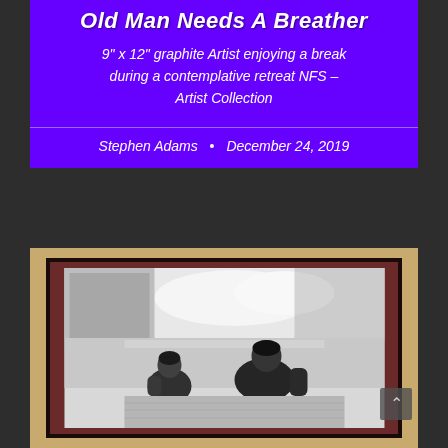Old Man Needs A Breather
9" x 12" graphite Artist enjoying a break during a contemplative retreat NFS – Artist Collection
Stephen Adams • December 24, 2019
[Figure (photo): Framed graphite drawing of two figures seen from behind, sitting and looking out at a landscape with trees and water. The drawing is matted in dark red/maroon and framed in black, set against a wooden background.]